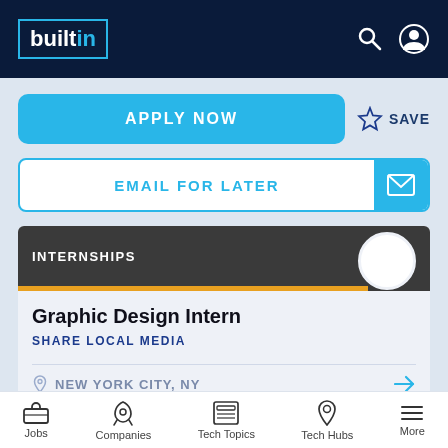builtin
APPLY NOW
SAVE
EMAIL FOR LATER
INTERNSHIPS
Graphic Design Intern
SHARE LOCAL MEDIA
NEW YORK CITY, NY
Jobs   Companies   Tech Topics   Tech Hubs   More